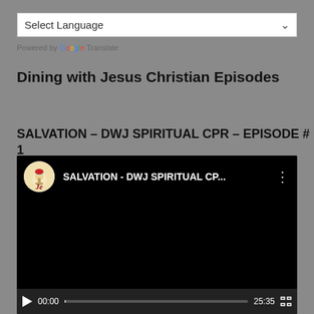Select Language
Powered by Google Translate
Dining with Jesus Christian Episodes
SALVATION – DWJ SPIRITUAL CPR – EPISODE # 1
[Figure (screenshot): YouTube video player showing 'SALVATION - DWJ SPIRITUAL CP...' with channel icon, three-dot menu, play button, timestamp 00:00, progress bar, duration 25:35, and fullscreen button on black background]